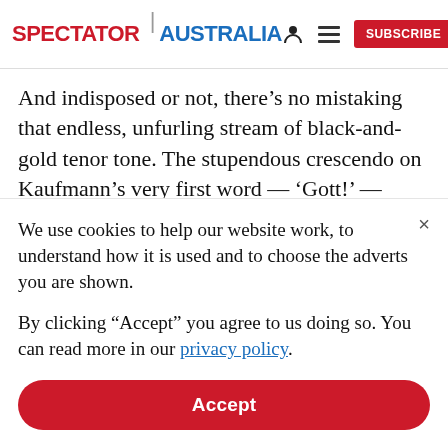SPECTATOR | AUSTRALIA
And indisposed or not, there’s no mistaking that endless, unfurling stream of black-and-gold tenor tone. The stupendous crescendo on Kaufmann’s very first word — ‘Gott!’ — might have been the single most gripping sound in the whole show. Which is saying something when a cast includes Lise Davidsen as
We use cookies to help our website work, to understand how it is used and to choose the adverts you are shown.

By clicking "Accept" you agree to us doing so. You can read more in our privacy policy.
Accept